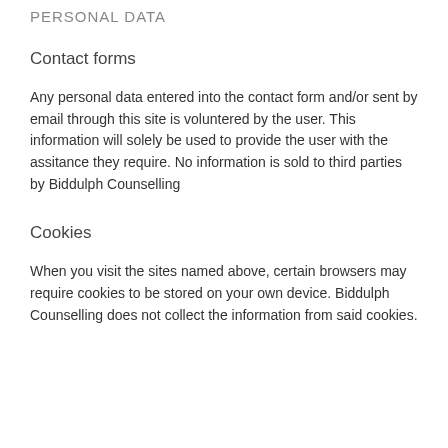PERSONAL DATA
Contact forms
Any personal data entered into the contact form and/or sent by email through this site is voluntered by the user. This information will solely be used to provide the user with the assitance they require. No information is sold to third parties by Biddulph Counselling
Cookies
When you visit the sites named above, certain browsers may require cookies to be stored on your own device. Biddulph Counselling does not collect the information from said cookies.